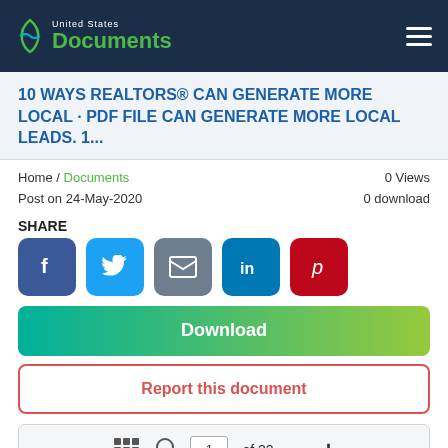United States Documents
10 WAYS REALTORS® CAN GENERATE MORE LOCAL · PDF FILE CAN GENERATE MORE LOCAL LEADS. 1...
Home / Documents   0 Views   Post on 24-May-2020   0 download
SHARE
[Figure (other): Social share buttons: Facebook, Twitter, Email, LinkedIn, Pinterest]
Download
Report this document
1 of 22